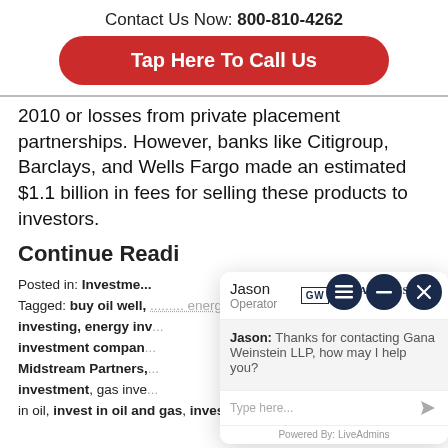Contact Us Now: 800-810-4262
Tap Here To Call Us
2010 or losses from private placement partnerships. However, banks like Citigroup, Barclays, and Wells Fargo made an estimated $1.1 billion in fees for selling these products to investors.
Continue Readi...
Posted in: Investment...
Tagged: buy oil well, ... energy investing, ... on investing, energy inv... investment compan... Midstream Partners,... investment, gas inve... in oil, invest in oil and gas, invest in oil stocks, invest
[Figure (screenshot): Live chat widget from Gana Weinstein LLP showing agent Jason (Operator) with message: Jason: Thanks for contacting Gana Weinstein LLP, how may I help you? with a text input field and LiveAdmins branding.]